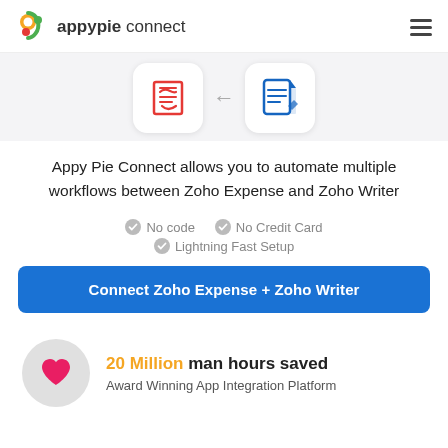appypie connect
[Figure (illustration): Two app icons (Zoho Expense red icon and Zoho Writer blue icon) connected by a left arrow, representing app integration]
Appy Pie Connect allows you to automate multiple workflows between Zoho Expense and Zoho Writer
No code
No Credit Card
Lightning Fast Setup
Connect Zoho Expense + Zoho Writer
20 Million man hours saved
Award Winning App Integration Platform